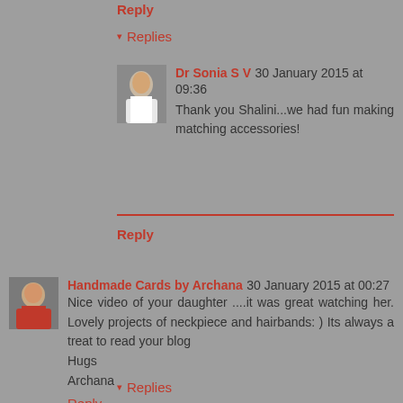Reply
▾ Replies
Dr Sonia S V 30 January 2015 at 09:36
Thank you Shalini...we had fun making matching accessories!
Reply
Handmade Cards by Archana 30 January 2015 at 00:27
Nice video of your daughter ....it was great watching her. Lovely projects of neckpiece and hairbands: ) Its always a treat to read your blog
Hugs
Archana
Reply
▾ Replies